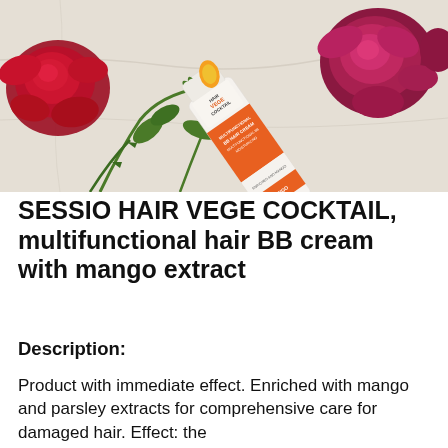[Figure (photo): Product photo of Sessio Hair Vege Cocktail BB hair cream tube lying among red and pink roses and green stems on a white marble surface]
SESSIO HAIR VEGE COCKTAIL, multifunctional hair BB cream with mango extract
Description:
Product with immediate effect. Enriched with mango and parsley extracts for comprehensive care for damaged hair. Effect: the